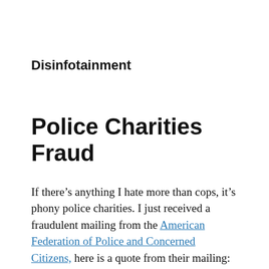Disinfotainment
Police Charities Fraud
If there’s anything I hate more than cops, it’s phony police charities. I just received a fraudulent mailing from the American Federation of Police and Concerned Citizens, here is a quote from their mailing:
Across the country, the American Federation of Police and Concerned